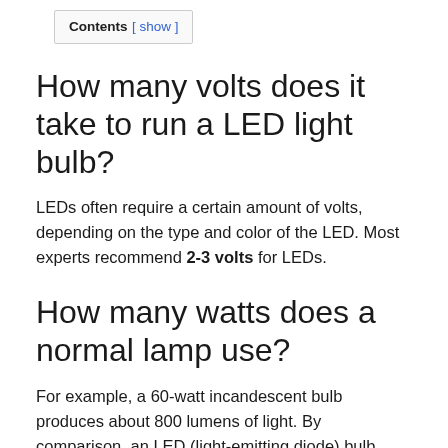Contents [ show ]
How many volts does it take to run a LED light bulb?
LEDs often require a certain amount of volts, depending on the type and color of the LED. Most experts recommend 2-3 volts for LEDs.
How many watts does a normal lamp use?
For example, a 60-watt incandescent bulb produces about 800 lumens of light. By comparison, an LED (light-emitting diode) bulb produces that same 800 lumens but